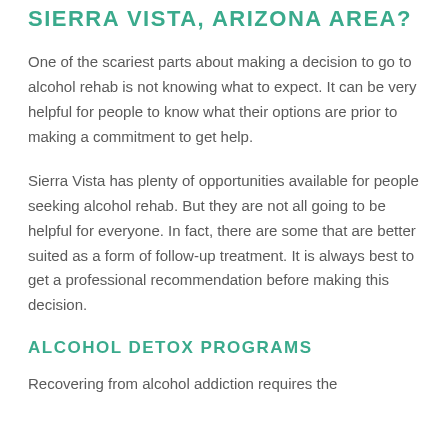SIERRA VISTA, ARIZONA AREA?
One of the scariest parts about making a decision to go to alcohol rehab is not knowing what to expect. It can be very helpful for people to know what their options are prior to making a commitment to get help.
Sierra Vista has plenty of opportunities available for people seeking alcohol rehab. But they are not all going to be helpful for everyone. In fact, there are some that are better suited as a form of follow-up treatment. It is always best to get a professional recommendation before making this decision.
ALCOHOL DETOX PROGRAMS
Recovering from alcohol addiction requires the